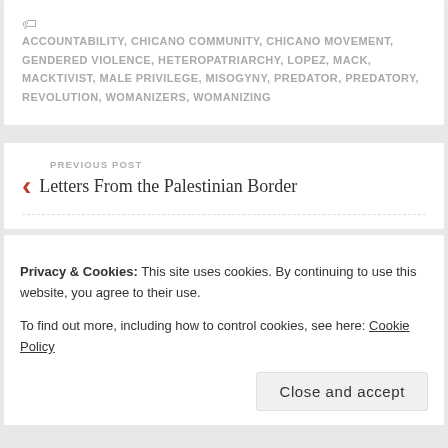ACCOUNTABILITY, CHICANO COMMUNITY, CHICANO MOVEMENT, GENDERED VIOLENCE, HETEROPATRIARCHY, LOPEZ, MACK, MACKTIVIST, MALE PRIVILEGE, MISOGYNY, PREDATOR, PREDATORY, REVOLUTION, WOMANIZERS, WOMANIZING
PREVIOUS POST
Letters From the Palestinian Border
Privacy & Cookies: This site uses cookies. By continuing to use this website, you agree to their use.
To find out more, including how to control cookies, see here: Cookie Policy
Close and accept